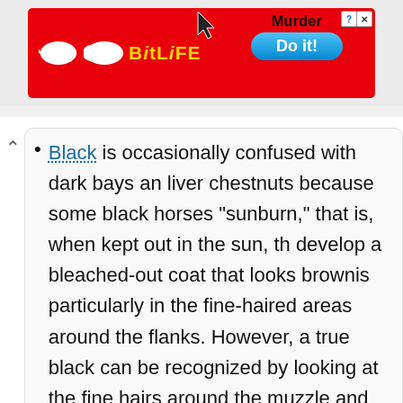[Figure (screenshot): BitLife mobile game advertisement banner with red background, BitLife logo on left, and 'Murder / Do it!' button on right]
Black is occasionally confused with dark bays and liver chestnuts because some black horses "sunburn," that is, when kept out in the sun, they develop a bleached-out coat that looks brownish, particularly in the fine-haired areas around the flanks. However, a true black can be recognized by looking at the fine hairs around the muzzle and eyes. These hairs are always black on a black horse, but are reddish, brownish, or even a light gold on a bay or chestnut.